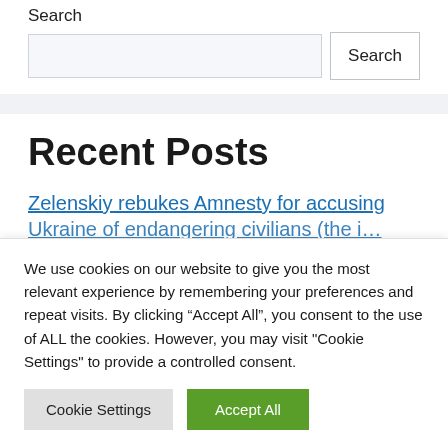Search
Search input and button
Recent Posts
Zelenskiy rebukes Amnesty for accusing Ukraine of endangering civilians (link, partially visible)
We use cookies on our website to give you the most relevant experience by remembering your preferences and repeat visits. By clicking “Accept All”, you consent to the use of ALL the cookies. However, you may visit "Cookie Settings" to provide a controlled consent.